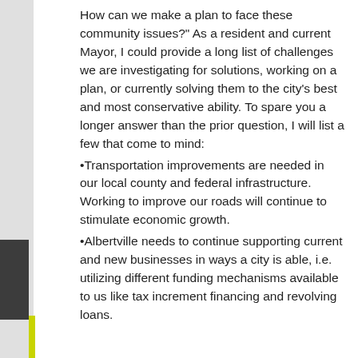How can we make a plan to face these community issues?" As a resident and current Mayor, I could provide a long list of challenges we are investigating for solutions, working on a plan, or currently solving them to the city's best and most conservative ability. To spare you a longer answer than the prior question, I will list a few that come to mind:
•Transportation improvements are needed in our local county and federal infrastructure.  Working to improve our roads will continue to stimulate economic growth.
•Albertville needs to continue supporting current and new businesses in ways a city is able, i.e. utilizing different funding mechanisms available to us like tax increment financing and revolving loans.